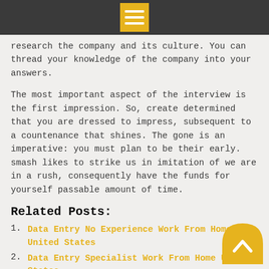[menu icon]
research the company and its culture. You can thread your knowledge of the company into your answers.
The most important aspect of the interview is the first impression. So, create determined that you are dressed to impress, subsequent to a countenance that shines. The gone is an imperative: you must plan to be their early. smash likes to strike us in imitation of we are in a rush, consequently have the funds for yourself passable amount of time.
Related Posts:
Data Entry No Experience Work From Home United States
Data Entry Specialist Work From Home United States
How to Make Money During Quarantine